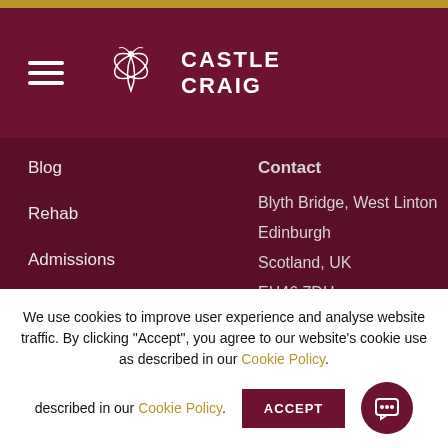[Figure (logo): Castle Craig logo with butterfly/scroll design and text 'CASTLE CRAIG']
Blog
Rehab
Admissions
Contact Us
In the Media
ISO 9001:2015 Quality Assurance
Contact
Blyth Bridge, West Linton
Edinburgh
Scotland, UK
EH46 7DH
24 Hour Helpline: 0808 291 3065
International: +44 172
We use cookies to improve user experience and analyse website traffic. By clicking "Accept", you agree to our website's cookie use as described in our Cookie Policy.